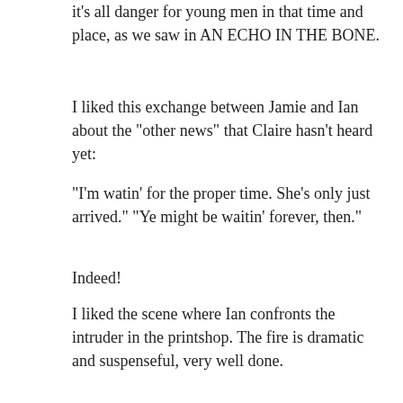it's all danger for young men in that time and place, as we saw in AN ECHO IN THE BONE.
I liked this exchange between Jamie and Ian about the "other news" that Claire hasn't heard yet:
"I'm watin' for the proper time. She's only just arrived." "Ye might be waitin' forever, then."
Indeed!
I liked the scene where Ian confronts the intruder in the printshop. The fire is dramatic and suspenseful, very well done.
Meanwhile, back at Madame Jeanne's, parts of the conversation between Jamie and Claire made my jaw drop in incredulity.
"Jenny and Ian dinna ken what's best for the lad. I'm the only one teachin' him the ways of the world."